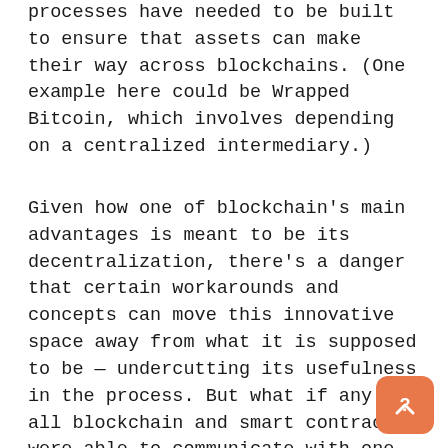processes have needed to be built to ensure that assets can make their way across blockchains. (One example here could be Wrapped Bitcoin, which involves depending on a centralized intermediary.)
Given how one of blockchain's main advantages is meant to be its decentralization, there's a danger that certain workarounds and concepts can move this innovative space away from what it is supposed to be — undercutting its usefulness in the process. But what if any and all blockchain and smart contracts were able to communicate with one another? What if decentralized access to off-chain oracle information could be granted to these platforms? To fix these issues once and for all, the industry